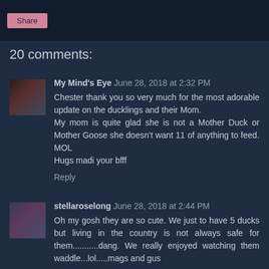Share
20 comments:
My Mind's Eye June 28, 2018 at 2:32 PM
Chester thank you so very much for the most adorable update on the ducklings and their Mom.
My mom is quite glad she is not a Mother Duck or Mother Goose she doesn't want 11 of anything to feed. MOL
Hugs madi your bfff
Reply
stellaroselong June 28, 2018 at 2:44 PM
Oh my gosh they are so cute. We just to have 5 ducks but living in the country is not always safe for them...........dang.
We really enjoyed watching them waddle...lol.....mags and gus
Reply